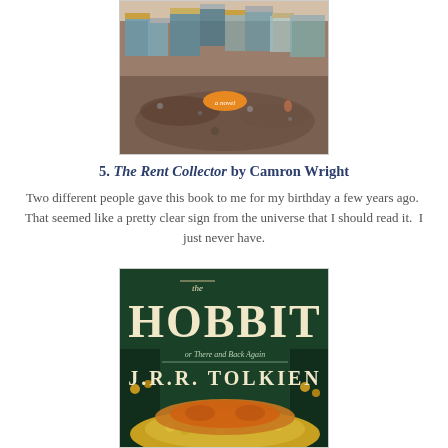[Figure (photo): Book cover of The Rent Collector by Camron Wright, showing an aerial view of a shantytown/slum with makeshift shelters and debris, with a small orange oval label reading 'a novel']
5. The Rent Collector by Camron Wright
Two different people gave this book to me for my birthday a few years ago.  That seemed like a pretty clear sign from the universe that I should read it.  I just never have.
[Figure (photo): Book cover of The Hobbit or There and Back Again by J.R.R. Tolkien, featuring large white serif text on a dark green background with an illustration of a dragon (Smaug) resting on treasure at the bottom]